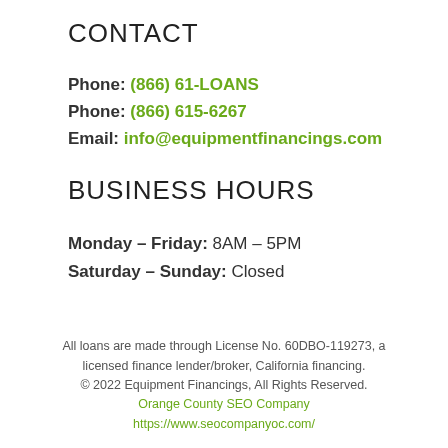CONTACT
Phone: (866) 61-LOANS
Phone: (866) 615-6267
Email: info@equipmentfinancings.com
BUSINESS HOURS
Monday – Friday: 8AM – 5PM
Saturday – Sunday: Closed
All loans are made through License No. 60DBO-119273, a licensed finance lender/broker, California financing.
© 2022 Equipment Financings, All Rights Reserved.
Orange County SEO Company
https://www.seocompanyoc.com/